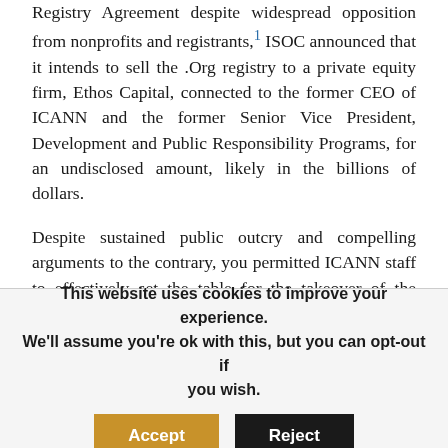Registry Agreement despite widespread opposition from nonprofits and registrants,1 ISOC announced that it intends to sell the .Org registry to a private equity firm, Ethos Capital, connected to the former CEO of ICANN and the former Senior Vice President, Development and Public Responsibility Programs, for an undisclosed amount, likely in the billions of dollars.
Despite sustained public outcry and compelling arguments to the contrary, you permitted ICANN staff to effectively set the table for the takeover of the cherished home for nonprofits by this private equity firm that will be totally unrestrained in raising prices on the nonprofits and other registrants whose online presence is tied to a .org domain name. If the sale
This website uses cookies to improve your experience. We'll assume you're ok with this, but you can opt-out if you wish. Accept Reject